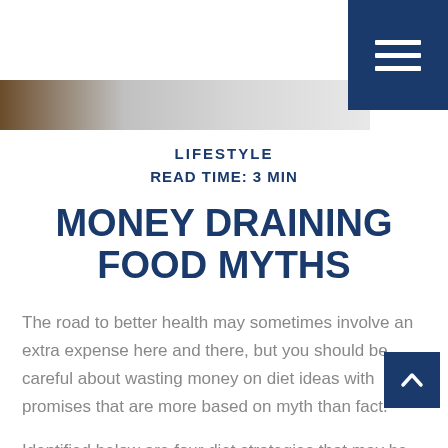[Figure (photo): Header image with a decorative horizontal strip showing brown and silver tones, with a dark navy blue navigation/menu button in the top right corner showing three horizontal white lines (hamburger menu icon).]
LIFESTYLE
READ TIME: 3 MIN
MONEY DRAINING FOOD MYTHS
The road to better health may sometimes involve an extra expense here and there, but you should be careful about wasting money on diet ideas with promises that are more based on myth than fact.
Identified below are four diet strategies that may be